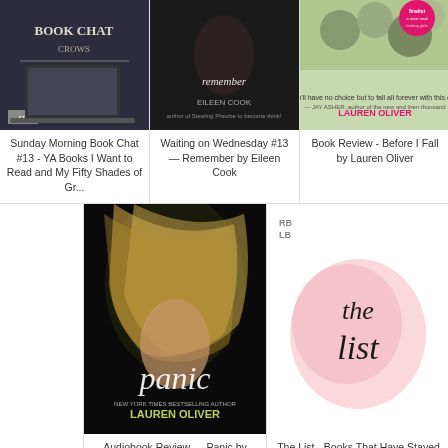[Figure (photo): Book cover for Sunday Morning Book Chat #13 - YA Books I Want to Read and My Fifty Shades of Gr...]
Sunday Morning Book Chat #13 - YA Books I Want to Read and My Fifty Shades of Gr...
[Figure (photo): Book cover for Waiting on Wednesday #13 — Remember by Eileen Cook]
Waiting on Wednesday #13 — Remember by Eileen Cook
[Figure (photo): Book cover for Book Review - Before I Fall by Lauren Oliver]
Book Review - Before I Fall by Lauren Oliver
[Figure (photo): Book cover for Audiobook Review — Panic by Lauren Oliver]
Audiobook Review — Panic by Lauren Oliver
[Figure (photo): Book cover for The List - Books That Have Stayed With Me]
The List - Books That Have Stayed With Me